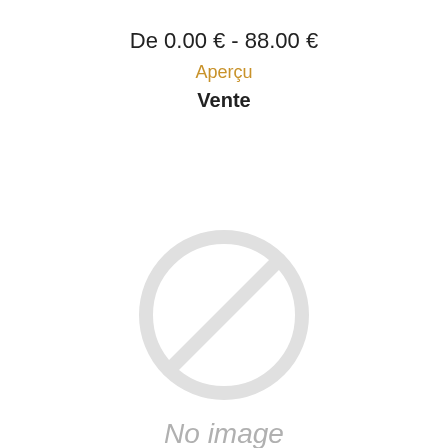De 0.00 € - 88.00 €
Aperçu
Vente
[Figure (illustration): No image placeholder — a circle with a diagonal line through it (prohibition/no-image icon) rendered in light gray, with the text 'No image' below in italic gray.]